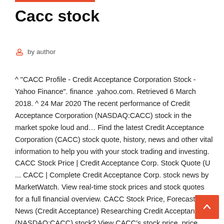Cacc stock
by author
^ "CACC Profile - Credit Acceptance Corporation Stock - Yahoo Finance". finance .yahoo.com. Retrieved 6 March 2018. ^ 24 Mar 2020 The recent performance of Credit Acceptance Corporation (NASDAQ:CACC) stock in the market spoke loud and… Find the latest Credit Acceptance Corporation (CACC) stock quote, history, news and other vital information to help you with your stock trading and investing. CACC Stock Price | Credit Acceptance Corp. Stock Quote (U ... CACC | Complete Credit Acceptance Corp. stock news by MarketWatch. View real-time stock prices and stock quotes for a full financial overview. CACC Stock Price, Forecast & News (Credit Acceptance) Researching Credit Acceptance (NASDAQ:CACC) stock? View CACC's stock price, price target, earnings, financials, forecast, insider trades, news, and SEC filings at MarketBeat.